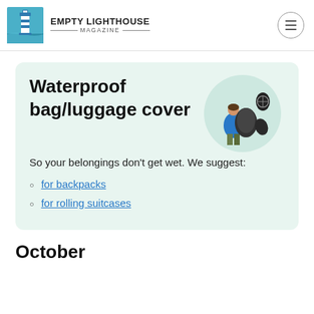EMPTY LIGHTHOUSE MAGAZINE
Waterproof bag/luggage cover
[Figure (photo): Person wearing a blue jacket with a large dark backpack cover, plus two additional pack cover items shown]
So your belongings don't get wet. We suggest:
for backpacks
for rolling suitcases
October